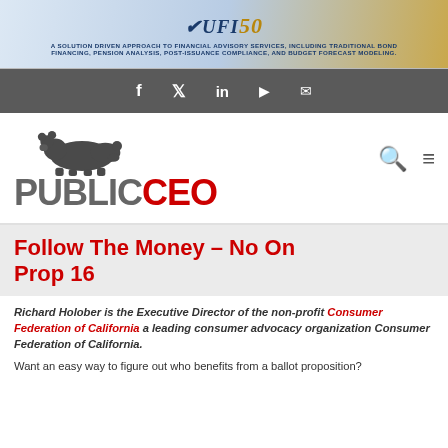[Figure (logo): UFI 50 banner advertisement for financial advisory services]
[Figure (logo): Social media navigation bar with Facebook, Twitter, LinkedIn, YouTube, and Email icons]
[Figure (logo): PublicCEO logo with bear silhouette, search and menu icons]
Follow The Money – No On Prop 16
Richard Holober is the Executive Director of the non-profit Consumer Federation of California a leading consumer advocacy organization Consumer Federation of California.
Want an easy way to figure out who benefits from a ballot proposition?